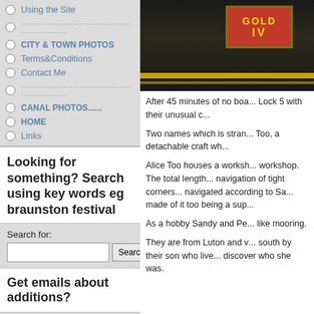Using the Site
--------------------------------------------
CITY & TOWN PHOTOS
Terms&Conditions
Contact Me
--------------------------------------------
CANAL PHOTOS......
HOME
Links
Looking for something? Search using key words eg braunston festival
Search for:
Get emails about additions?
Click here
The Social Stuff:
Additions to Site..What's New?
Canal and River Trust Formation
[Figure (photo): Photo of a canal narrowboat with a red sign bearing gold lettering, dark hull visible]
After 45 minutes of no boa... Lock 5 with their unusual c...
Two names which is stran... Too, a detachable craft wh...
Alice Too houses a worksh... workshop. The total lengt... navigation of tight corners... navigated according to Sa... made of it too being a sup...
As a hobby Sandy and Pe... like mooring.
They are from Luton and v... south by their son who live... discover who she was.